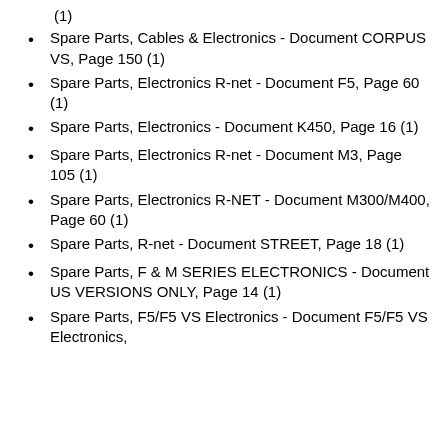(1)
Spare Parts, Cables & Electronics - Document CORPUS VS, Page 150 (1)
Spare Parts, Electronics R-net - Document F5, Page 60 (1)
Spare Parts, Electronics - Document K450, Page 16 (1)
Spare Parts, Electronics R-net - Document M3, Page 105 (1)
Spare Parts, Electronics R-NET - Document M300/M400, Page 60 (1)
Spare Parts, R-net - Document STREET, Page 18 (1)
Spare Parts, F & M SERIES ELECTRONICS - Document US VERSIONS ONLY, Page 14 (1)
Spare Parts, F5/F5 VS Electronics - Document F5/F5 VS Electronics,